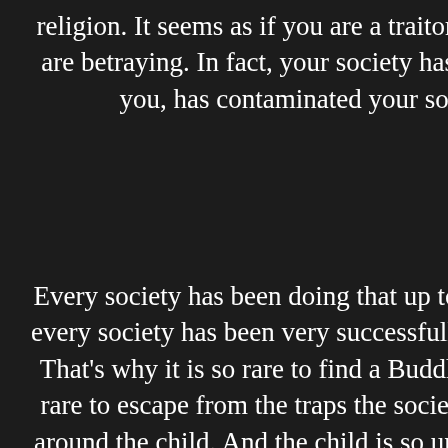religion. It seems as if you are a traitor, as if you are betraying. In fact, your society has betrayed you, has contaminated your soul.
Every society has been doing that up to now, and every society has been very successfully doing it. That's why it is so rare to find a Buddha; it is so rare to escape from the traps the society puts all around the child. And the child is so unaware; he can easily be conditioned, hypnotized. And that's what goes on and on in the temples, in the churches, in the schools, colleges,